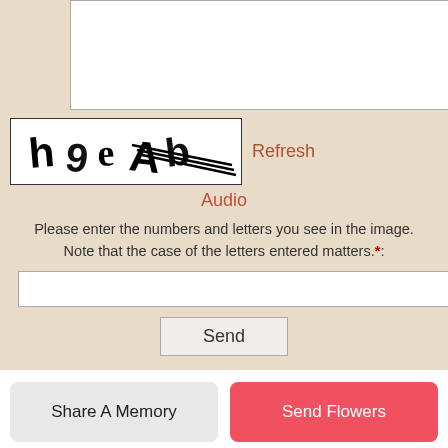[Figure (screenshot): CAPTCHA image showing distorted text 'h9eAb' with strikethrough lines]
Refresh
Audio
Please enter the numbers and letters you see in the image. Note that the case of the letters entered matters.*:
Send
Share A Memory
Send Flowers
Plant A Tree